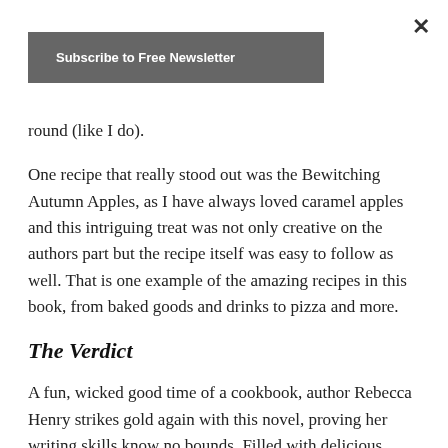[Figure (other): Close (X) button in upper right corner]
[Figure (other): Subscribe to Free Newsletter button, dark gray background with white bold text]
round (like I do).
One recipe that really stood out was the Bewitching Autumn Apples, as I have always loved caramel apples and this intriguing treat was not only creative on the authors part but the recipe itself was easy to follow as well. That is one example of the amazing recipes in this book, from baked goods and drinks to pizza and more.
The Verdict
A fun, wicked good time of a cookbook, author Rebecca Henry strikes gold again with this novel, proving her writing skills know no bounds. Filled with delicious recipes that families will love and can enjoy in a vegan friendly way, this